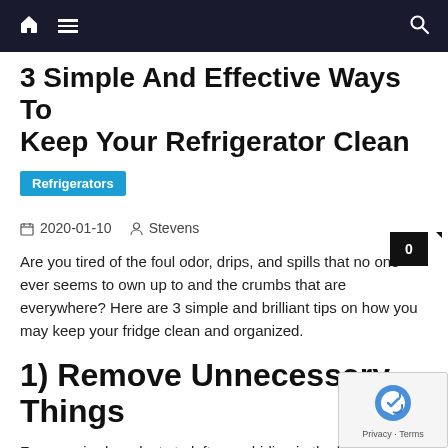Navigation bar with home, menu, and search icons
3 Simple And Effective Ways To Keep Your Refrigerator Clean
Refrigerators
2020-01-10   Stevens   0
Are you tired of the foul odor, drips, and spills that no one ever seems to own up to and the crumbs that are everywhere? Here are 3 simple and brilliant tips on how you may keep your fridge clean and organized.
1) Remove Unnecessary Things
From expired products to leftovers hiding in the back for day, chances are there's a bunch of things that no longer need